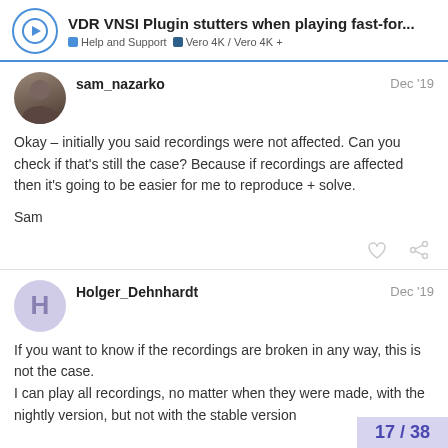VDR VNSI Plugin stutters when playing fast-for... | Help and Support | Vero 4K / Vero 4K+
sam_nazarko
Dec '19

Okay – initially you said recordings were not affected. Can you check if that's still the case? Because if recordings are affected then it's going to be easier for me to reproduce + solve.

Sam
Holger_Dehnhardt
Dec '19

If you want to know if the recordings are broken in any way, this is not the case.
I can play all recordings, no matter when they were made, with the nightly version, but not with the stable version
17 / 38